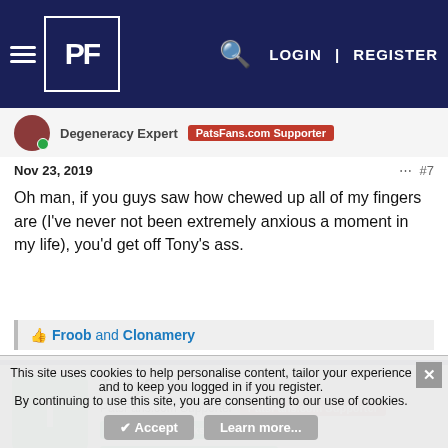PF LOGIN | REGISTER
Degeneracy Expert  PatsFans.com Supporter
Nov 23, 2019  #7
Oh man, if you guys saw how chewed up all of my fingers are (I've never not been extremely anxious a moment in my life), you'd get off Tony's ass.
👍 Froob and Clonamery
Tony2046  PatsFans.com Supporter  PatsFans.com Supporter  2019 Weekly Picks Winner  2021 Weekly NFL Picks Winner
This site uses cookies to help personalise content, tailor your experience and to keep you logged in if you register. By continuing to use this site, you are consenting to our use of cookies.